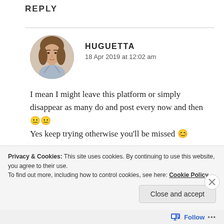REPLY
HUGUETTA
18 Apr 2019 at 12:02 am
I mean I might leave this platform or simply disappear as many do and post every now and then 😐😐
Yes keep trying otherwise you'll be missed 😊
Privacy & Cookies: This site uses cookies. By continuing to use this website, you agree to their use.
To find out more, including how to control cookies, see here: Cookie Policy
Close and accept
Follow ...